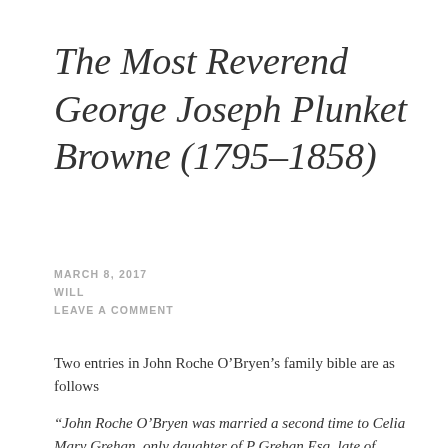The Most Reverend George Joseph Plunket Browne (1795–1858)
MARCH 8, 2017
WILL
LEAVE A COMMENT
Two entries in John Roche O’Bryen’s family bible are as follows
“John Roche O’Bryen was married a second time to Celia Mary Grehan, only daughter of P Grehan Esq, late of Weath Hall Somerset Mount Plunkett Athl…